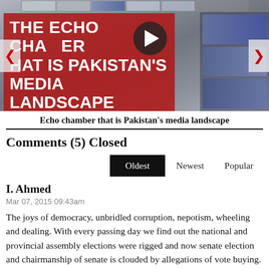[Figure (screenshot): News article slider/carousel image showing blurred newsroom background with red banner overlay reading 'THE ECHO CHAMBER THAT IS PAKISTAN'S MEDIA LANDSCAPE' and a video play button in the center. Left and right navigation arrows on the sides.]
Echo chamber that is Pakistan's media landscape
Comments (5) Closed
Oldest   Newest   Popular
I. Ahmed
Mar 07, 2015 09:43am
The joys of democracy, unbridled corruption, nepotism, wheeling and dealing. With every passing day we find out the national and provincial assembly elections were rigged and now senate election and chairmanship of senate is clouded by allegations of vote buying. Thank God for the incompetency and fear of provincial assemblies that we did not had the local